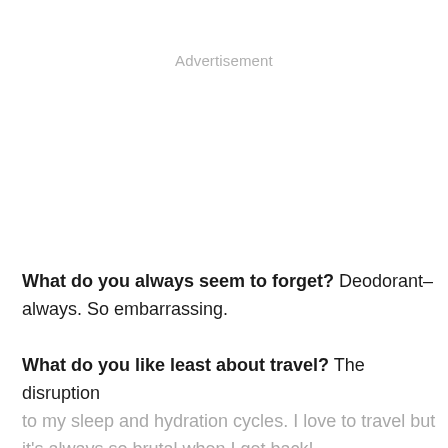Advertisement
What do you always seem to forget? Deodorant–always. So embarrassing.
What do you like least about travel? The disruption to my sleep and hydration cycles. I love to travel but it's always so brutal when I get back!